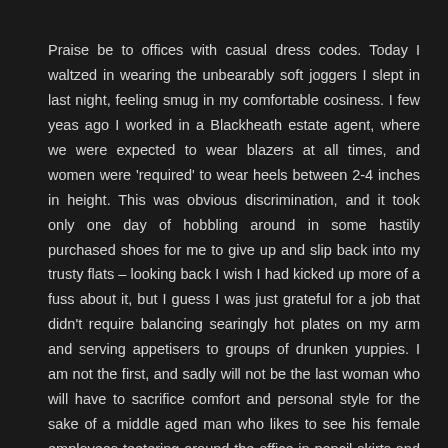Praise be to offices with casual dress codes. Today I waltzed in wearing the unbearably soft joggers I slept in last night, feeling smug in my comfortable cosiness. I few yeas ago I worked in a Blackheath estate agent, where we were expected to wear blazers at all times, and women were 'required' to wear heels between 2-4 inches in height. This was obvious discrimination, and it took only one day of hobbling around in some hastily purchased shoes for me to give up and slip back into my trusty flats – looking back I wish I had kicked up more of a fuss about it, but I guess I was just grateful for a job that didn't require balancing searingly hot plates on my arm and serving appetisers to groups of drunken yuppies. I am not the first, and sadly will not be the last woman who will have to sacrifice comfort and personal style for the sake of a middle aged man who likes to see his female employees teetering around the office in pencil skirts and prim (but not too prim) cardigans. Why not light up a smoke and smack my arse while you're at it? Anyway, I'm just happy to not be in that environment anymore, and instead to be in an environment where nobody looks down on my